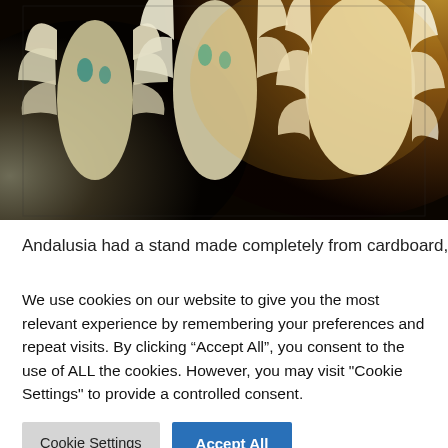[Figure (photo): Flamenco dancers in elaborate white feathered dresses performing on a dark stage, photographed from the front. Three dancers are visible with large flowing feathered costumes lit with warm golden light against a dark background.]
Andalusia had a stand made completely from cardboard, I'm
We use cookies on our website to give you the most relevant experience by remembering your preferences and repeat visits. By clicking “Accept All”, you consent to the use of ALL the cookies. However, you may visit "Cookie Settings" to provide a controlled consent.
Cookie Settings
Accept All